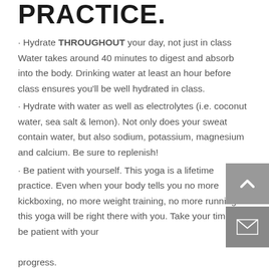PRACTICE.
· Hydrate THROUGHOUT your day, not just in class Water takes around 40 minutes to digest and absorb into the body. Drinking water at least an hour before class ensures you'll be well hydrated in class.
· Hydrate with water as well as electrolytes (i.e. coconut water, sea salt & lemon). Not only does your sweat contain water, but also sodium, potassium, magnesium and calcium. Be sure to replenish!
· Be patient with yourself. This yoga is a lifetime practice. Even when your body tells you no more kickboxing, no more weight training, no more running. this yoga will be right there with you. Take your time and be patient with your progress.